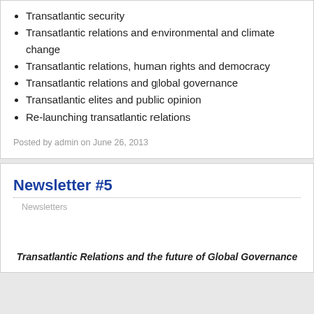Transatlantic security
Transatlantic relations and environmental and climate change
Transatlantic relations, human rights and democracy
Transatlantic relations and global governance
Transatlantic elites and public opinion
Re-launching transatlantic relations
Posted by admin on June 26, 2013
Newsletter #5
Newsletters
Transatlantic Relations and the future of Global Governance